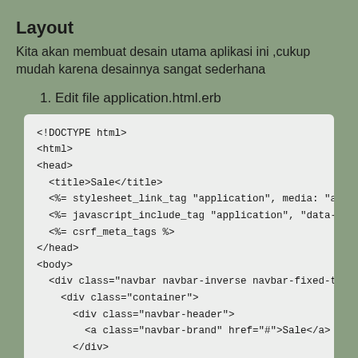Layout
Kita akan membuat desain utama aplikasi ini ,cukup mudah karena desainnya sangat sederhana
1. Edit file application.html.erb
[Figure (screenshot): Code block showing HTML ERB template content including DOCTYPE, html, head, title Sale, stylesheet_link_tag, javascript_include_tag, csrf_meta_tags, body, div with navbar classes, div container, div navbar-header, a navbar-brand, div close, and ul nav navbar-nav tags]